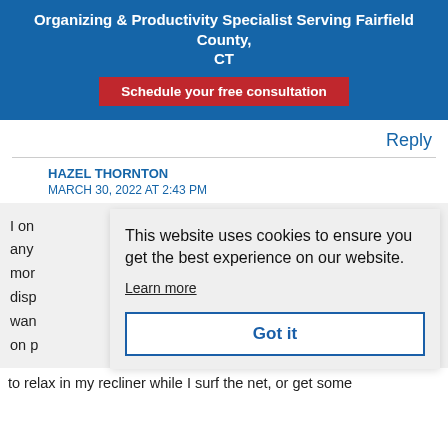Organizing & Productivity Specialist Serving Fairfield County, CT
Schedule your free consultation
Reply
HAZEL THORNTON
MARCH 30, 2022 AT 2:43 PM
I on... any... mor... disp... wan... on p...
[Figure (screenshot): Cookie consent popup overlay reading: 'This website uses cookies to ensure you get the best experience on our website. Learn more' with a 'Got it' button.]
to relax in my recliner while I surf the net, or get some